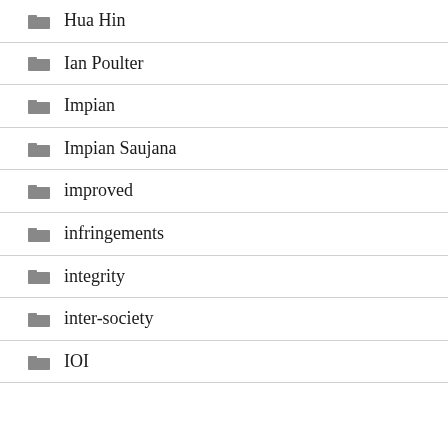Hua Hin
Ian Poulter
Impian
Impian Saujana
improved
infringements
integrity
inter-society
IOI